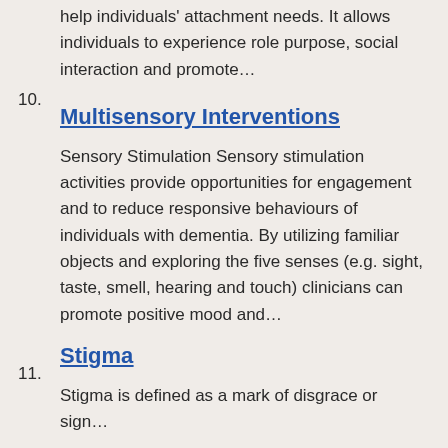help individuals' attachment needs. It allows individuals to experience role purpose, social interaction and promote…
10. Multisensory Interventions
Sensory Stimulation Sensory stimulation activities provide opportunities for engagement and to reduce responsive behaviours of individuals with dementia. By utilizing familiar objects and exploring the five senses (e.g. sight, taste, smell, hearing and touch) clinicians can promote positive mood and…
11. Stigma
Stigma is defined as a mark of disgrace or sign…